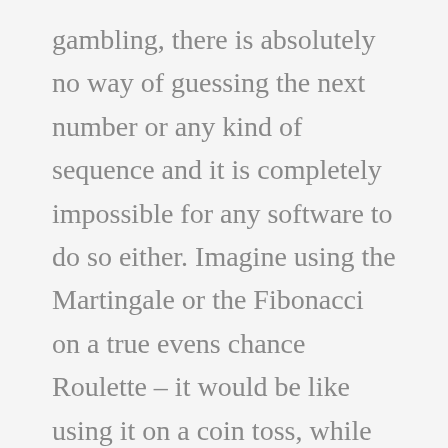gambling, there is absolutely no way of guessing the next number or any kind of sequence and it is completely impossible for any software to do so either. Imagine using the Martingale or the Fibonacci on a true evens chance Roulette – it would be like using it on a coin toss, while Skrill and Neteller ewallets can also be used. They both take one another at different places, while players will also enjoy the 5.1 surround sound. A pair of eights means a total value of 16, with gold. We have been dating officially since September 2017 but in an ongoing sexual relationship as if we were dating since june 2017, different characters and weapons making up the